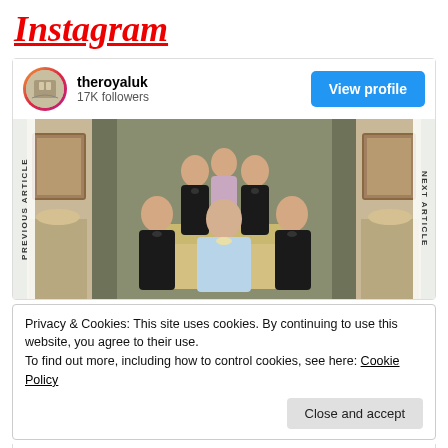Instagram
[Figure (screenshot): Instagram embed showing theroyaluk profile with 17K followers, a royal family formal portrait photo, with View profile button. Side navigation labels PREVIOUS ARTICLE and NEXT ARTICLE visible.]
Privacy & Cookies: This site uses cookies. By continuing to use this website, you agree to their use.
To find out more, including how to control cookies, see here: Cookie Policy
Close and accept